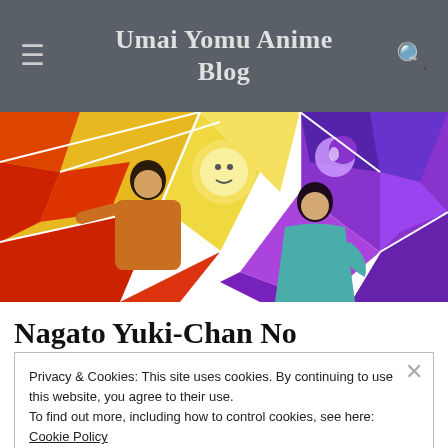Umai Yomu Anime Blog
[Figure (illustration): Anime stained-glass style illustration featuring two characters: a male character in an orange coat on the left, and a female character in a teal kimono on the right, with vivid yellow, red, purple, and blue geometric stained-glass background.]
Nagato Yuki-chan no
Privacy & Cookies: This site uses cookies. By continuing to use this website, you agree to their use.
To find out more, including how to control cookies, see here: Cookie Policy
Close and accept